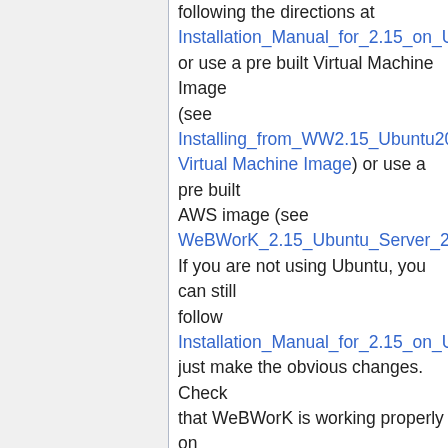following the directions at Installation_Manual_for_2.15_on_Ubuntu_2 or use a pre built Virtual Machine Image (see Installing_from_WW2.15_Ubuntu20.04_Ser Virtual Machine Image) or use a pre built AWS image (see WeBWorK_2.15_Ubuntu_Server_20.04_LTS If you are not using Ubuntu, you can still follow Installation_Manual_for_2.15_on_Ubuntu_2 just make the obvious changes. Check that WeBWorK is working properly on your new server before transferring old courses to the new server.
Step 2
On your old server log into the admin course (Course Administration), select "Archive Course", select the courses you